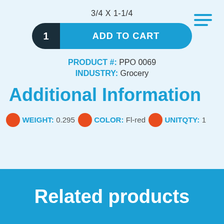3/4 X 1-1/4
[Figure (other): Add to cart button with quantity '1' on dark left side and 'ADD TO CART' on blue right side, pill-shaped]
[Figure (other): Hamburger menu icon with three horizontal blue lines]
PRODUCT #: PPO 0069
INDUSTRY: Grocery
Additional Information
WEIGHT: 0.295  COLOR: Fl-red  UNITQTY: 1
Related products